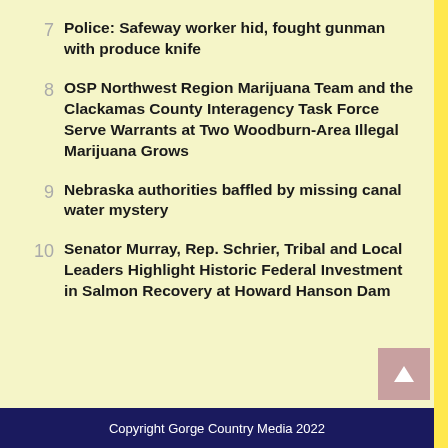7 Police: Safeway worker hid, fought gunman with produce knife
8 OSP Northwest Region Marijuana Team and the Clackamas County Interagency Task Force Serve Warrants at Two Woodburn-Area Illegal Marijuana Grows
9 Nebraska authorities baffled by missing canal water mystery
10 Senator Murray, Rep. Schrier, Tribal and Local Leaders Highlight Historic Federal Investment in Salmon Recovery at Howard Hanson Dam
Copyright Gorge Country Media 2022